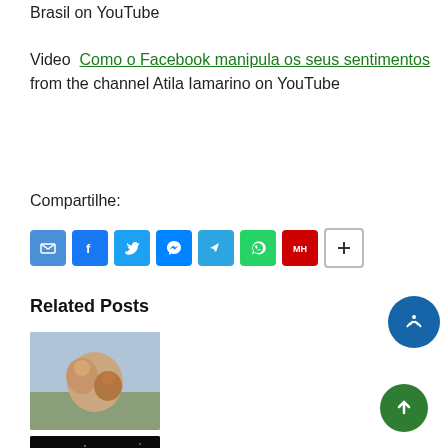Brasil on YouTube
Video Como o Facebook manipula os seus sentimentos from the channel Atila Iamarino on YouTube
Compartilhe:
[Figure (infographic): Social share icons: Email, Facebook, Twitter, Messenger, Telegram, WhatsApp, Miamiherald, Plus]
Related Posts
[Figure (photo): Two people hugging outdoors]
[Figure (photo): Dark image with pink text ISAAC]